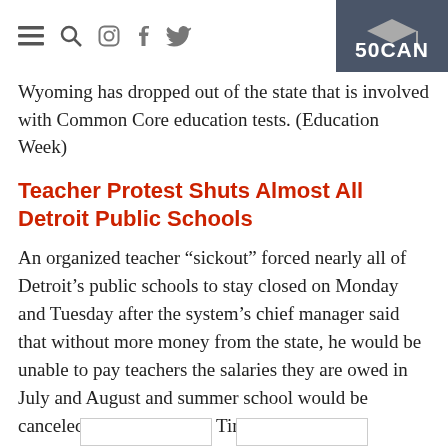50CAN [navigation icons: hamburger, search, instagram, facebook, twitter]
Wyoming has dropped out of the state that is involved with Common Core education tests. (Education Week)
Teacher Protest Shuts Almost All Detroit Public Schools
An organized teacher “sickout” forced nearly all of Detroit’s public schools to stay closed on Monday and Tuesday after the system’s chief manager said that without more money from the state, he would be unable to pay teachers the salaries they are owed in July and August and summer school would be canceled. (The New York Times)